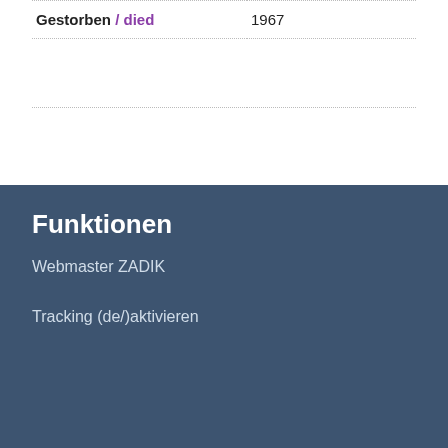| Gestorben / died | 1967 |
|  |  |
Funktionen
Webmaster ZADIK
Tracking (de/)aktivieren